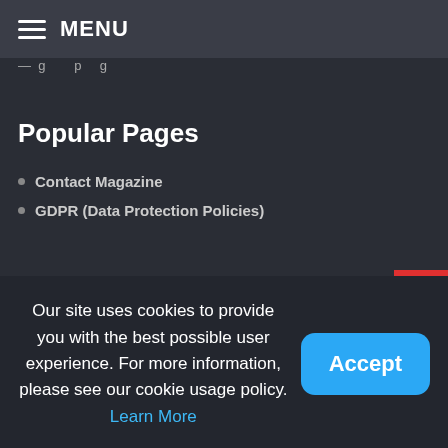MENU
Popular Pages
Contact Magazine
GDPR (Data Protection Policies)
Our site uses cookies to provide you with the best possible user experience. For more information, please see our cookie usage policy. Learn More